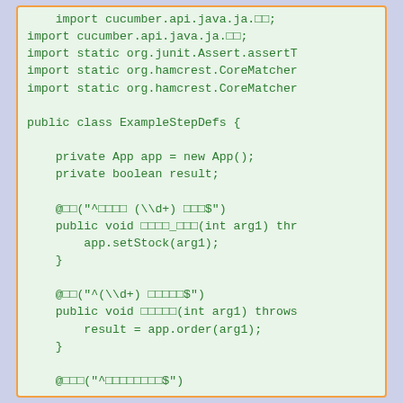[Figure (screenshot): A code snippet showing Java step definitions using Cucumber, with import statements and class ExampleStepDefs containing methods with annotations, app.setStock and app.order calls.]